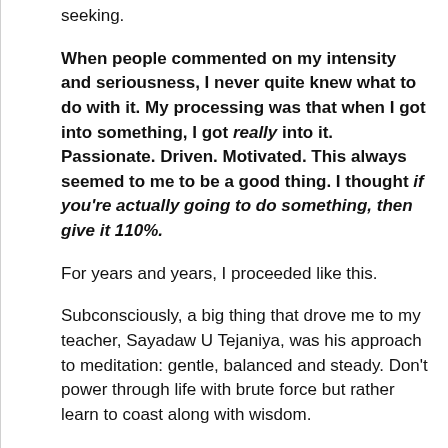seeking.
When people commented on my intensity and seriousness, I never quite knew what to do with it. My processing was that when I got into something, I got really into it. Passionate. Driven. Motivated. This always seemed to me to be a good thing. I thought if you're actually going to do something, then give it 110%.
For years and years, I proceeded like this.
Subconsciously, a big thing that drove me to my teacher, Sayadaw U Tejaniya, was his approach to meditation: gentle, balanced and steady. Don't power through life with brute force but rather learn to coast along with wisdom.
It was a hard lesson for me to learn.
I began my 21 month retreat with an incredible